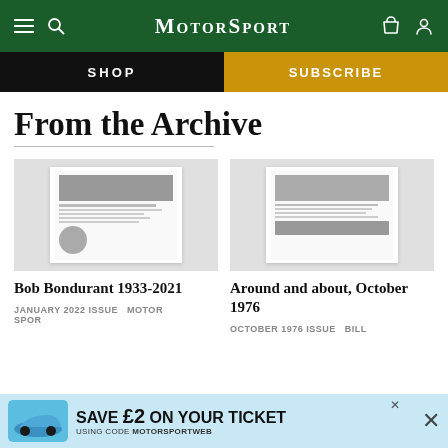MotorSport
SHOP
SUBSCRIBE
From the Archive
[Figure (screenshot): Thumbnail of Bob Bondurant 1933-2021 article page from Motor Sport magazine January 2022 issue]
[Figure (screenshot): Thumbnail of Around and about, October 1976 article page from Motor Sport magazine]
Bob Bondurant 1933-2021
Around and about, October 1976
JANUARY 2022 ISSUE  MOTOR SPORT
OCTOBER 1976 ISSUE  BILL
[Figure (infographic): Advertisement banner: blue Porsche 911 car image with text SAVE £2 ON YOUR TICKET USING CODE MOTORSPORTWEB, with X close button]